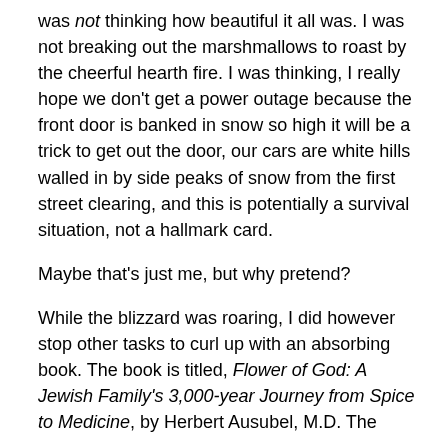was not thinking how beautiful it all was. I was not breaking out the marshmallows to roast by the cheerful hearth fire. I was thinking, I really hope we don't get a power outage because the front door is banked in snow so high it will be a trick to get out the door, our cars are white hills walled in by side peaks of snow from the first street clearing, and this is potentially a survival situation, not a hallmark card.
Maybe that's just me, but why pretend?
While the blizzard was roaring, I did however stop other tasks to curl up with an absorbing book. The book is titled, Flower of God: A Jewish Family's 3,000-year Journey from Spice to Medicine, by Herbert Ausubel, M.D. The author had the audacious project of tracing his family history back to Biblical times. Because the family specialized in